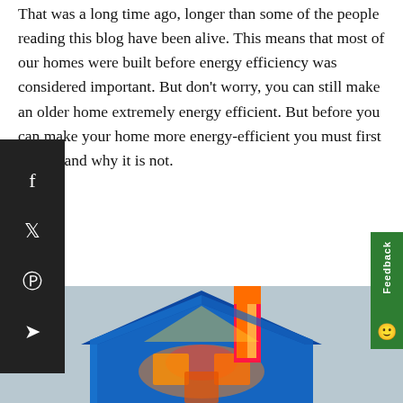That was a long time ago, longer than some of the people reading this blog have been alive. This means that most of our homes were built before energy efficiency was considered important. But don't worry, you can still make an older home extremely energy efficient. But before you can make your home more energy-efficient you must first understand why it is not.
Poorly Performing Building Envelopes
[Figure (illustration): Thermal imaging illustration of a house showing heat loss, with colorful heat map colors (blue, yellow, orange, red) on a house silhouette against a light gray background.]